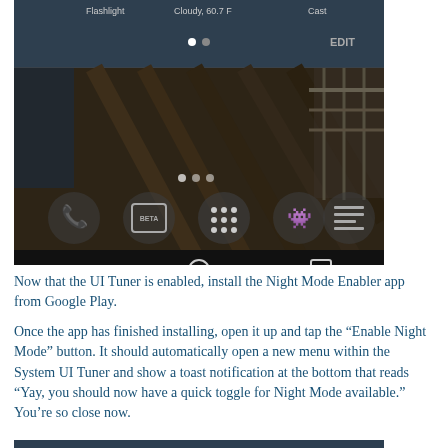[Figure (screenshot): Android phone screenshot showing quick settings panel at top with Flashlight, Cloudy 60.7 F, Cast options and EDIT button, below that a home screen with a wooden dock/pier wallpaper, app icons including phone, a beta app, app drawer, Reddit, and a news app, and navigation bar at bottom with back, home, and recents buttons.]
Now that the UI Tuner is enabled, install the Night Mode Enabler app from Google Play.
Once the app has finished installing, open it up and tap the “Enable Night Mode” button. It should automatically open a new menu within the System UI Tuner and show a toast notification at the bottom that reads “Yay, you should now have a quick toggle for Night Mode available.” You’re so close now.